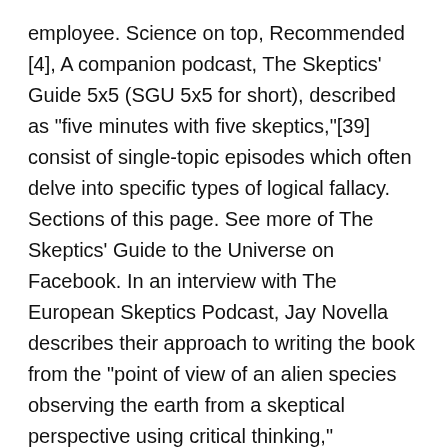employee. Science on top, Recommended [4], A companion podcast, The Skeptics' Guide 5x5 (SGU 5x5 for short), described as "five minutes with five skeptics,"[39] consist of single-topic episodes which often delve into specific types of logical fallacy. Sections of this page. See more of The Skeptics' Guide to the Universe on Facebook. In an interview with The European Skeptics Podcast, Jay Novella describes their approach to writing the book from the "point of view of an alien species observing the earth from a skeptical perspective using critical thinking," reminiscent of the podcast's namesake The Hitchhiker's Guide to the Galaxy by Douglas Adams. The Rationalists Society of Australia The SGU has established several goals after achieving a certain number of financial supporters. The Skeptics' Guide to the Universe is a weekly science podcast discussing the latest science news, critical thinking, bad science, conspiracies and controversies. Losing in the Lucky Country. It also contains posthumous